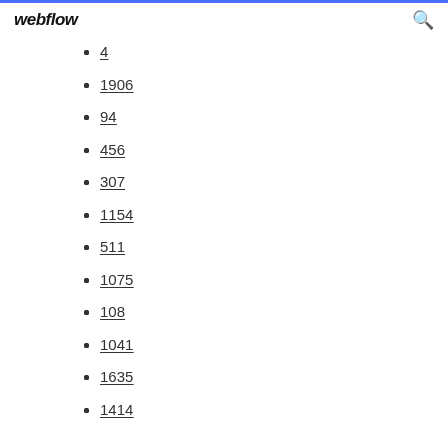webflow
4
1906
94
456
307
1154
511
1075
108
1041
1635
1414